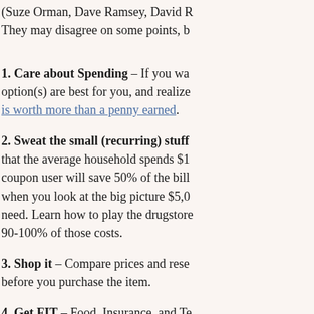(Suze Orman, Dave Ramsey, David R... They may disagree on some points, b...
1. Care about Spending – If you wa... option(s) are best for you, and realize... is worth more than a penny earned.
2. Sweat the small (recurring) stuff – that the average household spends $1... coupon user will save 50% of the bill... when you look at the big picture $5,0... need. Learn how to play the drugstore... 90-100% of those costs.
3. Shop it – Compare prices and rese... before you purchase the item.
4. Get FIT – Food, Insurance, and Te... to cut. Food can be cut by using coup... Wealth does the coupon match for Hy... have a different local store then try th...